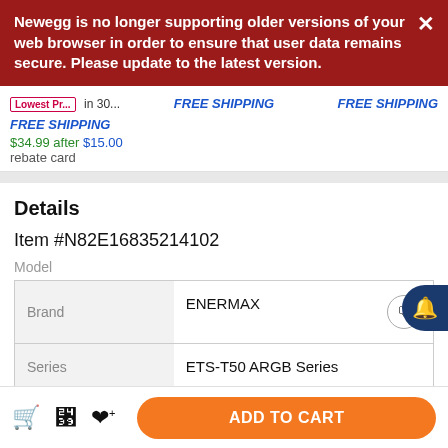Newegg is no longer supporting older versions of your web browser in order to ensure that user data remains secure. Please update to the latest version.
Lowest Pr... in 30... FREE SHIPPING FREE SHIPPING
FREE SHIPPING
$34.99 after $15.00 rebate card
Details
Item #N82E16835214102
Model
|  |  |
| --- | --- |
| Brand | ENERMAX |
| Series | ETS-T50 ARGB Series |
ADD TO CART